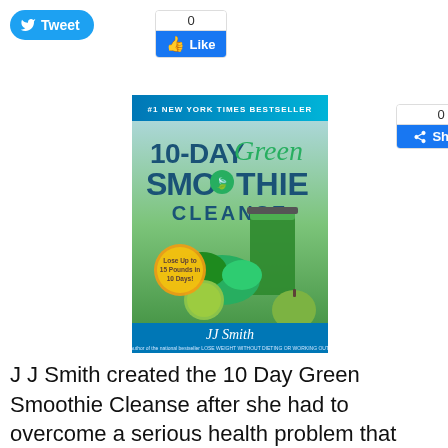[Figure (screenshot): Twitter Tweet button (blue pill shape with bird icon and 'Tweet' text)]
[Figure (screenshot): Facebook Like widget showing count '0' above blue 'Like' button]
[Figure (screenshot): Facebook Share widget showing count '0' above blue 'Share' button]
[Figure (photo): Book cover: '10-Day Green Smoothie Cleanse' by JJ Smith, #1 New York Times Bestseller, showing green smoothie, vegetables, and text 'Lose Up to 15 Pounds in 10 Days!']
J J Smith created the 10 Day Green Smoothie Cleanse after she had to overcome a serious health problem that lasted for 2 months. Over that period, she experienced weight gain, fatigue, health matters caused by dental issues